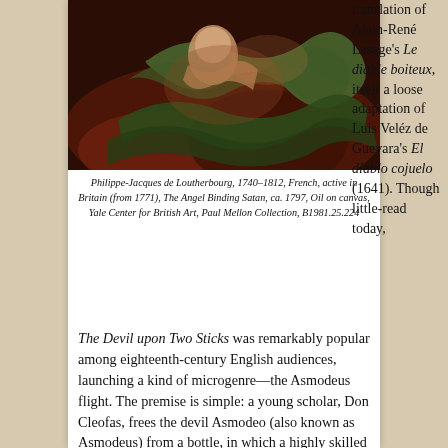[Figure (photo): Dark dramatic oil painting depicting an angel binding Satan, with serpentine green coils and a human figure in warm tones against a dark red-brown background]
Philippe-Jacques de Loutherbourg, 1740–1812, French, active in Britain (from 1771), The Angel Binding Satan, ca. 1797, Oil on canvas, Yale Center for British Art, Paul Mellon Collection, B1981.25.224
translation of Alain-René Lesage's Le diable boiteux, itself a loose adaptation of Luis Veléz de Guevara's El diablo cojuelo (1641). Though little-read today,
The Devil upon Two Sticks was remarkably popular among eighteenth-century English audiences, launching a kind of microgenre—the Asmodeus flight. The premise is simple: a young scholar, Don Cleofas, frees the devil Asmodeo (also known as Asmodeus) from a bottle, in which a highly skilled sorcerer has trapped him. In gratitude, the devil on